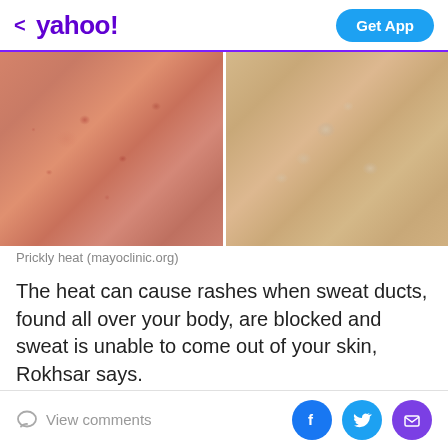< yahoo! | Get App
[Figure (photo): Two side-by-side close-up photos of skin showing prickly heat rash: left image shows pinkish-red irritated skin with small red bumps, right image shows lighter skin with small white/pale bumps. From mayoclinic.org.]
Prickly heat (mayoclinic.org)
The heat can cause rashes when sweat ducts, found all over your body, are blocked and sweat is unable to come out of your skin, Rokhsar says.
It can happen if you're wearing thick clothing, heavy creams or are in extreme heat. In young children, it
View comments